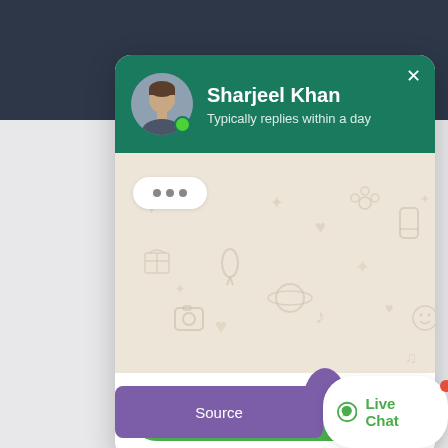[Figure (screenshot): WhatsApp-style live chat widget popup showing contact 'Sharjeel Khan' with green header, typing indicator bubble, Start Chat button, and bottom bar with Source and Live Chat buttons.]